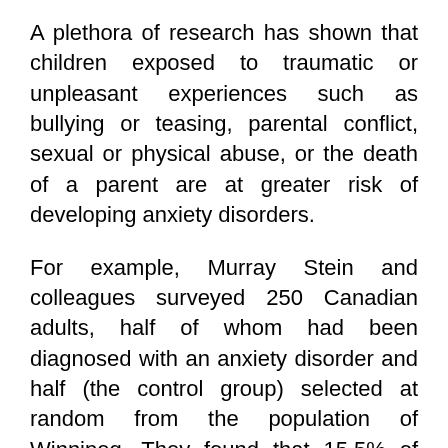A plethora of research has shown that children exposed to traumatic or unpleasant experiences such as bullying or teasing, parental conflict, sexual or physical abuse, or the death of a parent are at greater risk of developing anxiety disorders.
For example, Murray Stein and colleagues surveyed 250 Canadian adults, half of whom had been diagnosed with an anxiety disorder and half (the control group) selected at random from the population of Winnipeg. They found that 15.5% of men and 33.3% of women with an anxiety disorder had suffered physical abuse as a child, compared to 8.1% of the control group. Similarly, childhood sexual abuse